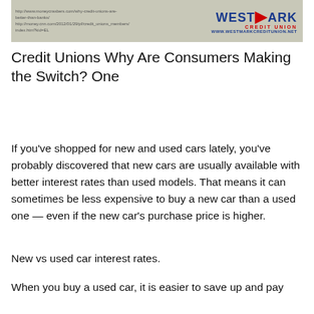[Figure (screenshot): Screenshot showing URLs for credit union articles on the left and the Westmark Credit Union logo with website www.westmarkcreditunion.net on the right, on a grey background.]
Credit Unions Why Are Consumers Making the Switch? One
If you’ve shopped for new and used cars lately, you’ve probably discovered that new cars are usually available with better interest rates than used models. That means it can sometimes be less expensive to buy a new car than a used one — even if the new car’s purchase price is higher.
New vs used car interest rates.
When you buy a used car, it is easier to save up and pay